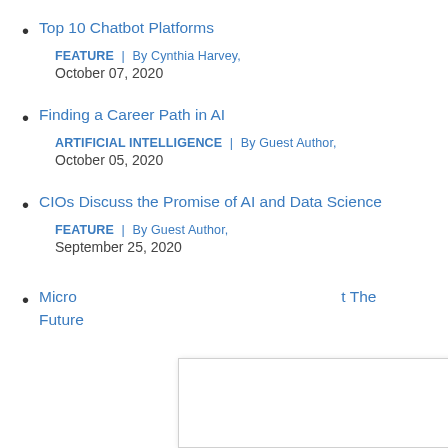Top 10 Chatbot Platforms
FEATURE |  By Cynthia Harvey,
October 07, 2020
Finding a Career Path in AI
ARTIFICIAL INTELLIGENCE |  By Guest Author,
October 05, 2020
CIOs Discuss the Promise of AI and Data Science
FEATURE |  By Guest Author,
September 25, 2020
Micr... The Futur...